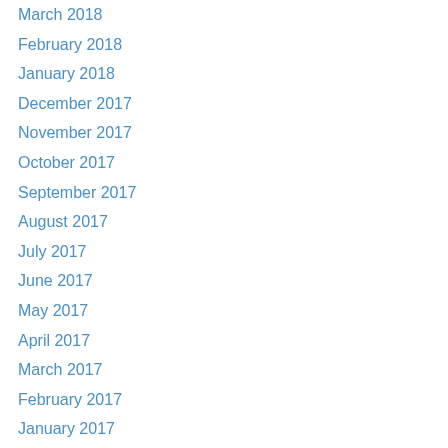March 2018
February 2018
January 2018
December 2017
November 2017
October 2017
September 2017
August 2017
July 2017
June 2017
May 2017
April 2017
March 2017
February 2017
January 2017
December 2016
November 2016
October 2016
September 2016
August 2016